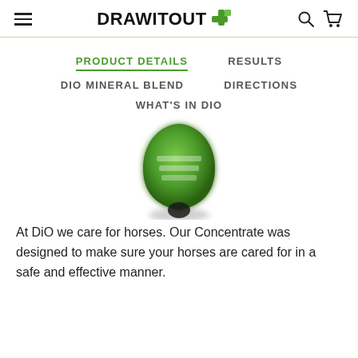DRAW it OUT - navigation header with hamburger menu, logo, search and cart icons
PRODUCT DETAILS | RESULTS | DIO MINERAL BLEND | DIRECTIONS | WHAT'S IN DIO
[Figure (photo): Green bottle/product with DiO branding, teardrop/shield shaped label]
At DiO we care for horses. Our Concentrate was designed to make sure your horses are cared for in a safe and effective manner.